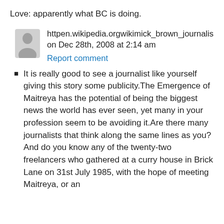Love: apparently what BC is doing.
[Figure (illustration): Generic user avatar icon (grey silhouette of a person on light grey background)]
httpen.wikipedia.orgwikimick_brown_journalis on Dec 28th, 2008 at 2:14 am
Report comment
It is really good to see a journalist like yourself giving this story some publicity.The Emergence of Maitreya has the potential of being the biggest news the world has ever seen, yet many in your profession seem to be avoiding it.Are there many journalists that think along the same lines as you?
And do you know any of the twenty-two freelancers who gathered at a curry house in Brick Lane on 31st July 1985, with the hope of meeting Maitreya, or an